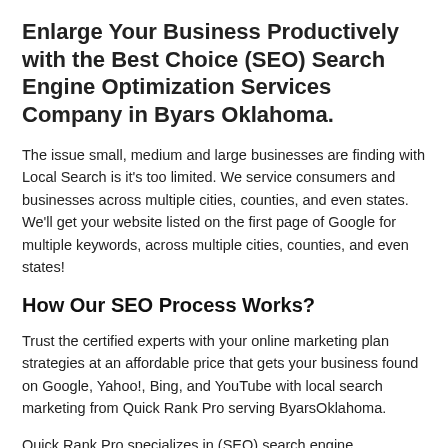Enlarge Your Business Productively with the Best Choice (SEO) Search Engine Optimization Services Company in Byars Oklahoma.
The issue small, medium and large businesses are finding with Local Search is it's too limited. We service consumers and businesses across multiple cities, counties, and even states. We'll get your website listed on the first page of Google for multiple keywords, across multiple cities, counties, and even states!
How Our SEO Process Works?
Trust the certified experts with your online marketing plan strategies at an affordable price that gets your business found on Google, Yahoo!, Bing, and YouTube with local search marketing from Quick Rank Pro serving ByarsOklahoma.
Quick Rank Pro specializes in (SEO) search engine optimization strategies that advance your rankings by attracting the engines'